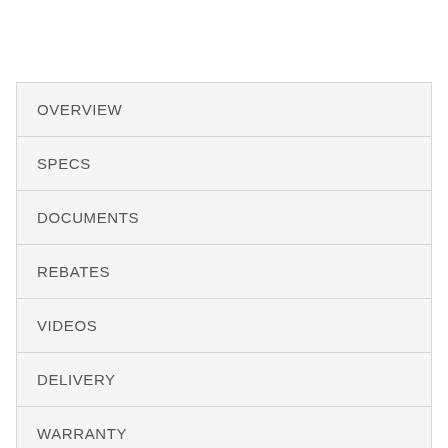OVERVIEW
SPECS
DOCUMENTS
REBATES
VIDEOS
DELIVERY
WARRANTY
REVIEWS (719)